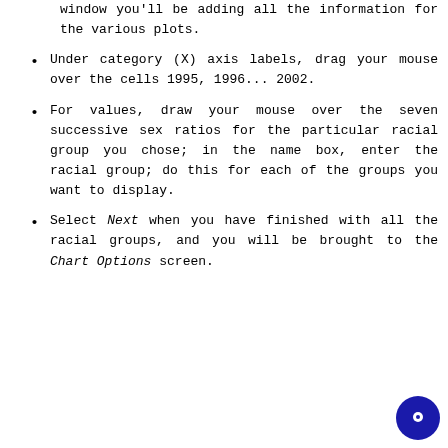window you'll be adding all the information for the various plots.
Under category (X) axis labels, drag your mouse over the cells 1995, 1996... 2002.
For values, draw your mouse over the seven successive sex ratios for the particular racial group you chose; in the name box, enter the racial group; do this for each of the groups you want to display.
Select Next when you have finished with all the racial groups, and you will be brought to the Chart Options screen.